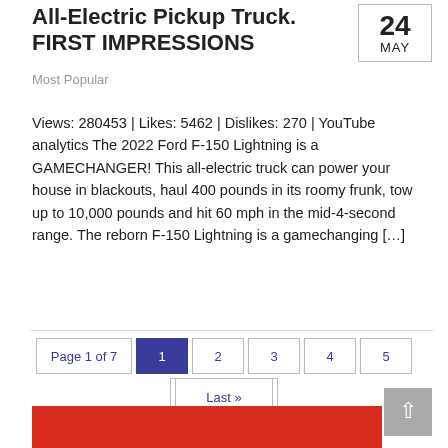All-Electric Pickup Truck. FIRST IMPRESSIONS
Most Popular
Views: 280453 | Likes: 5462 | Dislikes: 270 | YouTube analytics The 2022 Ford F-150 Lightning is a GAMECHANGER! This all-electric truck can power your house in blackouts, haul 400 pounds in its roomy frunk, tow up to 10,000 pounds and hit 60 mph in the mid-4-second range. The reborn F-150 Lightning is a gamechanging [...]
Read more ›
Page 1 of 7  1  2  3  4  5  ...  »  Last»
[Figure (other): Red banner at the bottom with a partial screenshot/graphic]